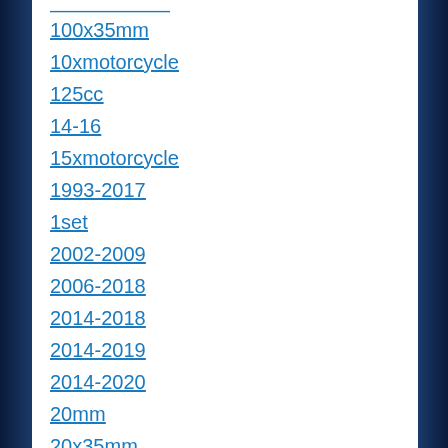100x35mm
10xmotorcycle
125cc
14-16
15xmotorcycle
1993-2017
1set
2002-2009
2006-2018
2014-2018
2014-2019
2014-2020
20mm
20x35mm